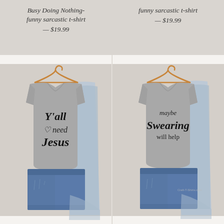Busy Doing Nothing- funny sarcastic t-shirt — $19.99
funny sarcastic t-shirt — $19.99
[Figure (photo): Gray t-shirt on wooden hanger with text 'Y'all need Jesus' paired with denim shorts and light blue denim jacket]
[Figure (photo): Gray t-shirt on wooden hanger with text 'maybe Swearing will help' paired with denim shorts and light blue denim jacket]